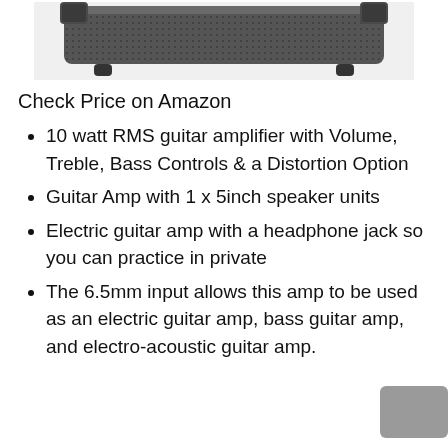[Figure (photo): Top portion of a dark gray guitar amplifier case/enclosure, showing the top edge with corner hardware and rubber feet, on a white background.]
Check Price on Amazon
10 watt RMS guitar amplifier with Volume, Treble, Bass Controls & a Distortion Option
Guitar Amp with 1 x 5inch speaker units
Electric guitar amp with a headphone jack so you can practice in private
The 6.5mm input allows this amp to be used as an electric guitar amp, bass guitar amp, and electro-acoustic guitar amp.